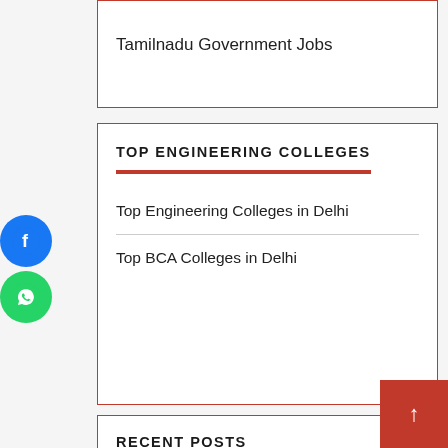Tamilnadu Government Jobs
TOP ENGINEERING COLLEGES
Top Engineering Colleges in Delhi
Top BCA Colleges in Delhi
RECENT POSTS
2022 New Alto K10 Vs Alto 800
Elthor Bravo – Specification | Range | Price